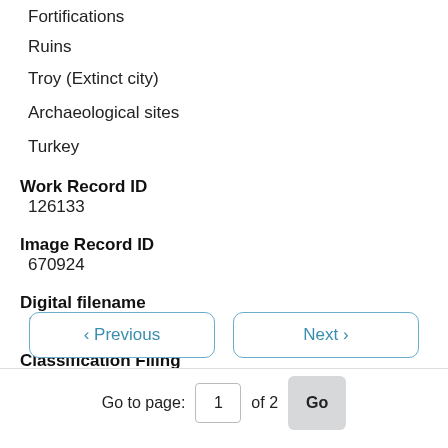Fortifications
Ruins
Troy (Extinct city)
Archaeological sites
Turkey
Work Record ID
126133
Image Record ID
670924
Digital filename
14d003561
Classification Filing
‹ Previous
Next ›
Go to page: 1 of 2 Go